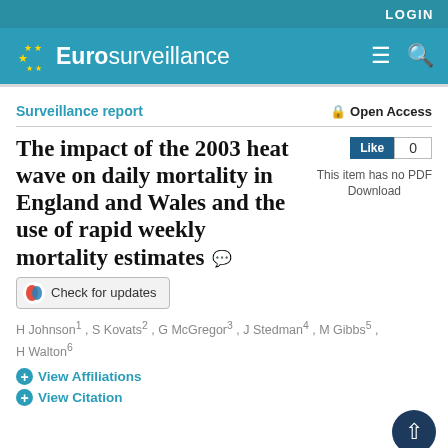LOGIN
[Figure (logo): Eurosurveillance logo with EU stars on teal background, with hamburger menu and search icons]
Surveillance report
Open Access
The impact of the 2003 heat wave on daily mortality in England and Wales and the use of rapid weekly mortality estimates
Like 0
This item has no PDF Download
Check for updates
H Johnson1 , S Kovats2 , G McGregor3 , J Stedman4 , M Gibbs5 , H Walton6
View Affiliations
View Citation